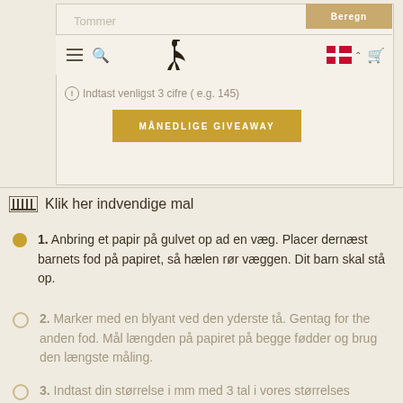[Figure (screenshot): Website screenshot showing a shoe size calculator interface with navigation bar, heron bird logo, Danish flag, a text input labeled 'Tommer', a 'Beregn' button, a warning message 'Indtast venligst 3 cifre (e.g. 145)', and a golden 'MÅNEDLIGE GIVEAWAY' button.]
Klik her indvendige mal
1. Anbring et papir på gulvet op ad en væg. Placer dernæst barnets fod på papiret, så hælen rør væggen. Dit barn skal stå op.
2. Marker med en blyant ved den yderste tå. Gentag for the anden fod. Mål længden på papiret på begge fødder og brug den længste måling.
3. Indtast din størrelse i mm med 3 tal i vores størrelses beregner. Vælg den anbefalede og